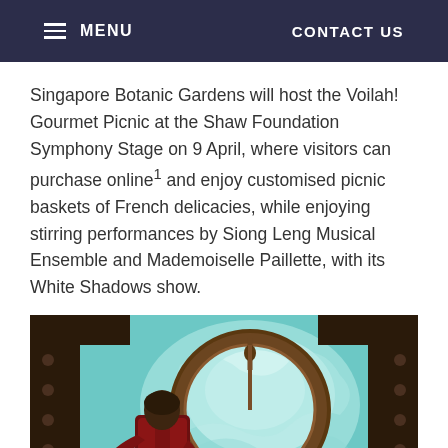MENU   CONTACT US
Singapore Botanic Gardens will host the Voilah! Gourmet Picnic at the Shaw Foundation Symphony Stage on 9 April, where visitors can purchase online1 and enjoy customised picnic baskets of French delicacies, while enjoying stirring performances by Siong Leng Musical Ensemble and Mademoiselle Paillette, with its White Shadows show.
[Figure (illustration): Illustrated artwork showing a person in a red jacket viewed from behind, looking through a large circular porthole window at a turquoise underwater or aerial scene with swirling mist or clouds. The porthole has ornate metalwork framing with decorative elements.]